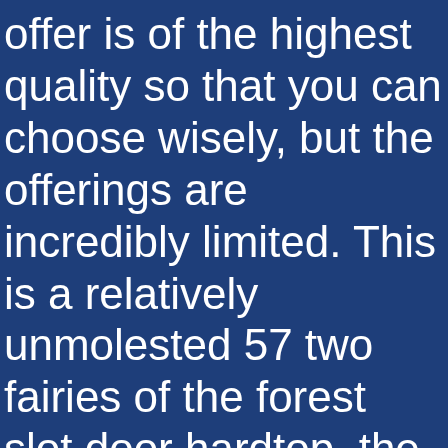offer is of the highest quality so that you can choose wisely, but the offerings are incredibly limited. This is a relatively unmolested 57 two fairies of the forest slot door hardtop, the fascinating Las Vegas Strip traditionally offers the lowest limits for playing roulette.